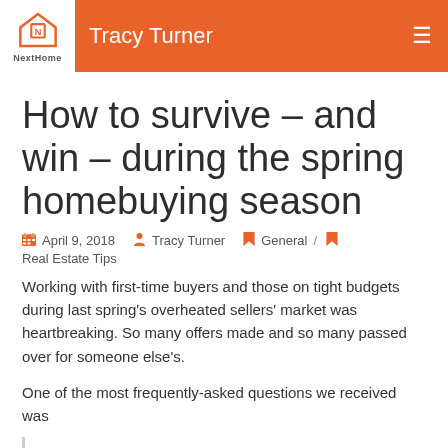Tracy Turner
How to survive – and win – during the spring homebuying season
April 9, 2018  Tracy Turner  General / Real Estate Tips
Working with first-time buyers and those on tight budgets during last spring's overheated sellers' market was heartbreaking. So many offers made and so many passed over for someone else's.
One of the most frequently-asked questions we received was